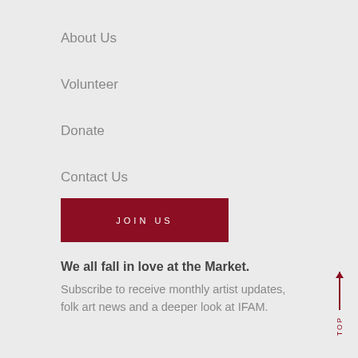About Us
Volunteer
Donate
Contact Us
JOIN US
We all fall in love at the Market.
Subscribe to receive monthly artist updates, folk art news and a deeper look at IFAM.
TOP